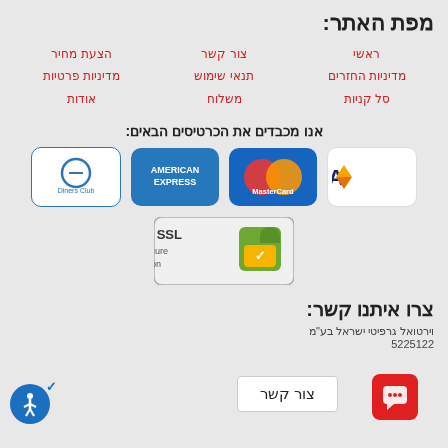מפת האתר:
ראשי
מדיניות החזרים
סל קניות
צור קשר
תנאי שימוש
משלוח
הצעת מחיר
מדיניות פרטיות
אודות
אנו מכבדים את הכרטיסים הבאים:
[Figure (logo): VISA credit card logo - white background with blue VISA text]
[Figure (logo): MasterCard logo - blue background with overlapping red and orange circles]
[Figure (logo): American Express logo - blue background with white text]
[Figure (logo): Diners Club logo - white background with blue circle and D symbol]
[Figure (logo): SSL Secure Connection badge with padlock icon and green checkmark]
צרו איתנו קשר:
וירטואל גרפיטי ישראל בע"מ
5225122
צור קשר